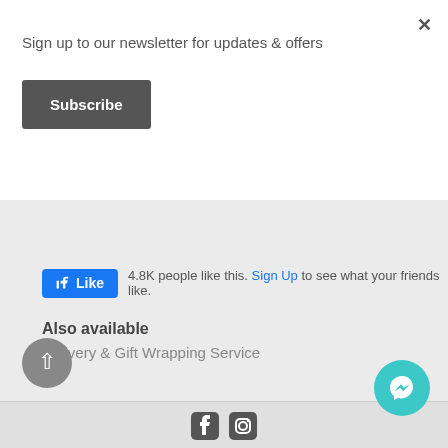×
Sign up to our newsletter for updates & offers
Subscribe
[Figure (screenshot): Facebook Like button widget showing '4.8K people like this. Sign Up to see what your friends like.']
Also available
Delivery & Gift Wrapping Service
[Figure (infographic): Scroll-up arrow button (dark gray circle) and Messenger chat button (teal circle) in bottom corners]
[Figure (infographic): Facebook and Instagram social media icons in page footer]